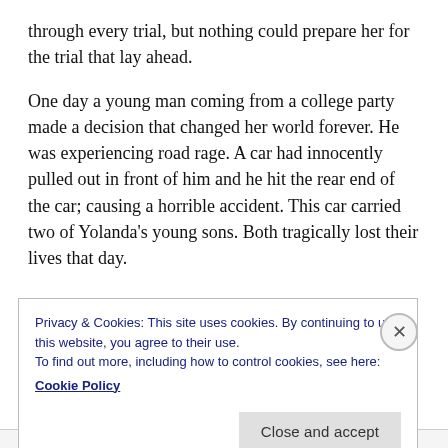through every trial, but nothing could prepare her for the trial that lay ahead.
One day a young man coming from a college party made a decision that changed her world forever. He was experiencing road rage. A car had innocently pulled out in front of him and he hit the rear end of the car; causing a horrible accident. This car carried two of Yolanda's young sons. Both tragically lost their lives that day.
Privacy & Cookies: This site uses cookies. By continuing to use this website, you agree to their use.
To find out more, including how to control cookies, see here:
Cookie Policy